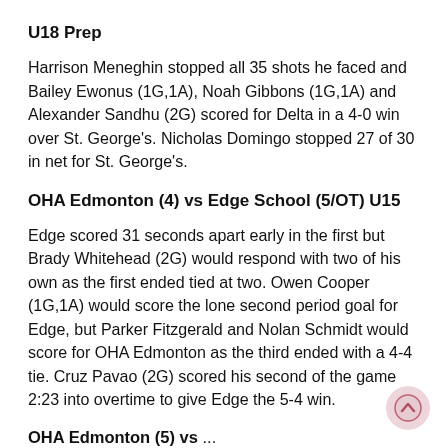U18 Prep
Harrison Meneghin stopped all 35 shots he faced and Bailey Ewonus (1G,1A), Noah Gibbons (1G,1A) and Alexander Sandhu (2G) scored for Delta in a 4-0 win over St. George's. Nicholas Domingo stopped 27 of 30 in net for St. George's.
OHA Edmonton (4) vs Edge School (5/OT) U15
Edge scored 31 seconds apart early in the first but Brady Whitehead (2G) would respond with two of his own as the first ended tied at two. Owen Cooper (1G,1A) would score the lone second period goal for Edge, but Parker Fitzgerald and Nolan Schmidt would score for OHA Edmonton as the third ended with a 4-4 tie. Cruz Pavao (2G) scored his second of the game 2:23 into overtime to give Edge the 5-4 win.
OHA Edmonton (5) vs ...